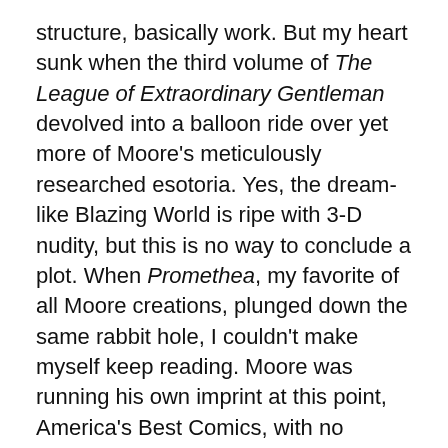structure, basically work. But my heart sunk when the third volume of The League of Extraordinary Gentleman devolved into a balloon ride over yet more of Moore's meticulously researched esotoria. Yes, the dream-like Blazing World is ripe with 3-D nudity, but this is no way to conclude a plot. When Promethea, my favorite of all Moore creations, plunged down the same rabbit hole, I couldn't make myself keep reading. Moore was running his own imprint at this point, America's Best Comics, with no Parliament or War Council left to ignore, and no corrupt tyrant to oppose.
Heroes need oppression. Even Fairbanks' son, Douglas Jr., knew that. After his father's death, he wrote, produced, and starred in The Exile, a 1947 swashbuckler about Charles II, the son of the king Cromwell beheaded. He